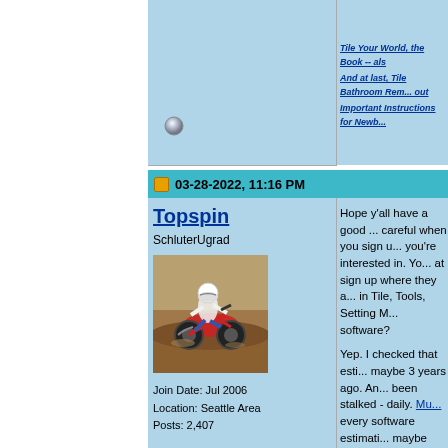Tile Your World, the Book -- als
And at last, Tile Bathroom Rem... out
Important Instructions for Newb...
03-28-2022, 11:16 PM
Topspin
SchluterUgrad
[Figure (photo): Photo of a motocross rider on a dirt bike racing on a dirt track]
Join Date: Jul 2006
Location: Seattle Area
Posts: 2,407
Hope y'all have a good ... careful when you sign u... you're interested in. Yo... at sign up where they a... in Tile, Tools, Setting M... software?

Yep. I checked that esti... maybe 3 years ago. An... been stalked - daily. Mu... every software estimati... maybe Coverings coul...

So if you want daily em... excellent companies) li... Exact Estimating, Willia... Union Estimating, Biddi... Prism Estimation, Plans... Estimating, Vibrant Esti... LLC., ULTIMATE ESTIM...